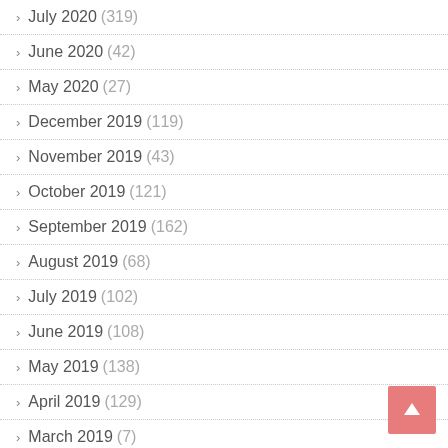July 2020 (319)
June 2020 (42)
May 2020 (27)
December 2019 (119)
November 2019 (43)
October 2019 (121)
September 2019 (162)
August 2019 (68)
July 2019 (102)
June 2019 (108)
May 2019 (138)
April 2019 (129)
March 2019 (7)